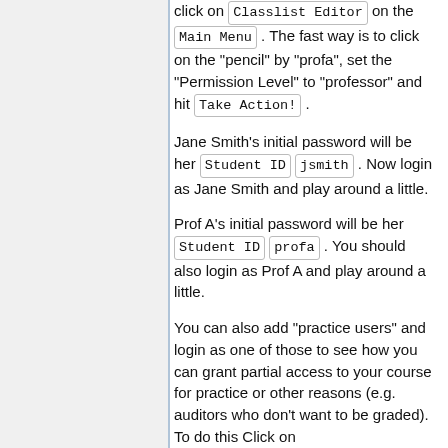click on Classlist Editor on the Main Menu . The fast way is to click on the "pencil" by "profa", set the "Permission Level" to "professor" and hit Take Action! .
Jane Smith's initial password will be her Student ID jsmith . Now login as Jane Smith and play around a little.
Prof A's initial password will be her Student ID profa . You should also login as Prof A and play around a little.
You can also add "practice users" and login as one of those to see how you can grant partial access to your course for practice or other reasons (e.g. auditors who don't want to be graded). To do this Click on Classlist Editor ,